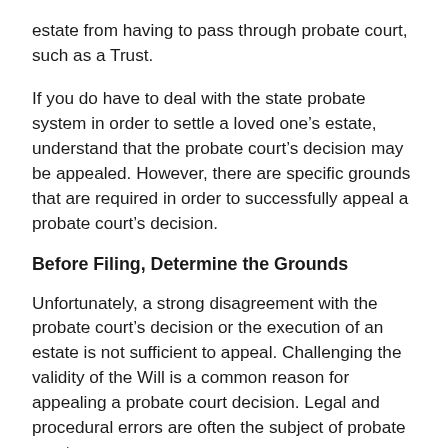estate from having to pass through probate court, such as a Trust.
If you do have to deal with the state probate system in order to settle a loved one’s estate, understand that the probate court’s decision may be appealed. However, there are specific grounds that are required in order to successfully appeal a probate court’s decision.
Before Filing, Determine the Grounds
Unfortunately, a strong disagreement with the probate court’s decision or the execution of an estate is not sufficient to appeal. Challenging the validity of the Will is a common reason for appealing a probate court decision. Legal and procedural errors are often the subject of probate court appeals.